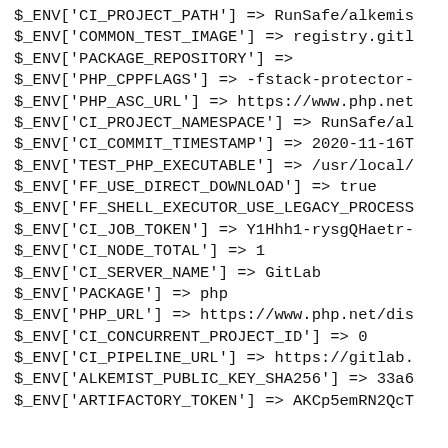$_ENV['CI_PROJECT_PATH'] => RunSafe/alkemis
$_ENV['COMMON_TEST_IMAGE'] => registry.gitl
$_ENV['PACKAGE_REPOSITORY'] =>
$_ENV['PHP_CPPFLAGS'] => -fstack-protector-
$_ENV['PHP_ASC_URL'] => https://www.php.net
$_ENV['CI_PROJECT_NAMESPACE'] => RunSafe/al
$_ENV['CI_COMMIT_TIMESTAMP'] => 2020-11-16T
$_ENV['TEST_PHP_EXECUTABLE'] => /usr/local/
$_ENV['FF_USE_DIRECT_DOWNLOAD'] => true
$_ENV['FF_SHELL_EXECUTOR_USE_LEGACY_PROCESS
$_ENV['CI_JOB_TOKEN'] => Y1Hhh1-rysgQHaetr-
$_ENV['CI_NODE_TOTAL'] => 1
$_ENV['CI_SERVER_NAME'] => GitLab
$_ENV['PACKAGE'] => php
$_ENV['PHP_URL'] => https://www.php.net/dis
$_ENV['CI_CONCURRENT_PROJECT_ID'] => 0
$_ENV['CI_PIPELINE_URL'] => https://gitlab.
$_ENV['ALKEMIST_PUBLIC_KEY_SHA256'] => 33a6
$_ENV['ARTIFACTORY_TOKEN'] => AKCp5emRN2QcT